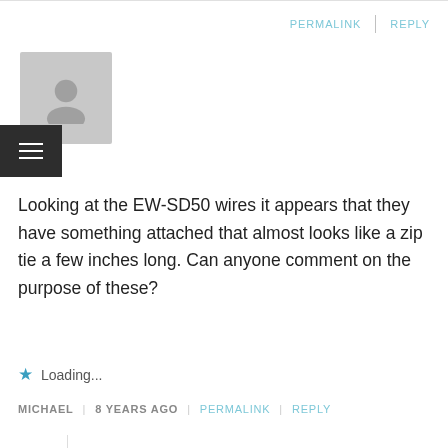PERMALINK | REPLY
[Figure (illustration): Gray placeholder avatar icon (small, top-left)]
Looking at the EW-SD50 wires it appears that they have something attached that almost looks like a zip tie a few inches long. Can anyone comment on the purpose of these?
★ Loading...
MICHAEL | 8 YEARS AGO | PERMALINK | REPLY
[Figure (illustration): Gray placeholder avatar icon (medium, nested reply)]
So it won't rattle in the tube.
★ Loading...
DI2DIY | 8 YEARS AGO | PERMALINK | REPLY
[Figure (illustration): Gray placeholder avatar icon (small, bottom-left)]